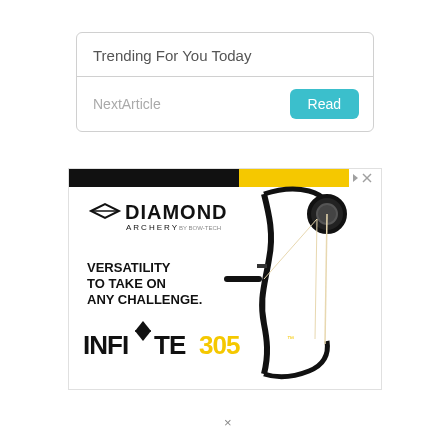Trending For You Today
NextArticle
[Figure (screenshot): Diamond Archery advertisement showing a compound bow (Infinite 305) with text 'VERSATILITY TO TAKE ON ANY CHALLENGE.' and the product name 'INFINITE 305' in bold black and yellow typography. Top bar has yellow and black stripes with ad close controls.]
×